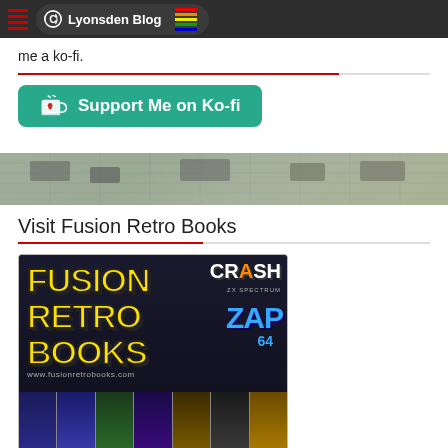Lyonsden Blog
me a ko-fi.
[Figure (other): Green 'Support Me on Ko-fi' button with coffee cup icon]
[Figure (photo): PCB circuit board banner image]
Visit Fusion Retro Books
[Figure (logo): Fusion Retro Books logo with CRASH ZX Spectrum and ZAP 64 branding, book covers strip at bottom, www.fusionretrobooks.com]